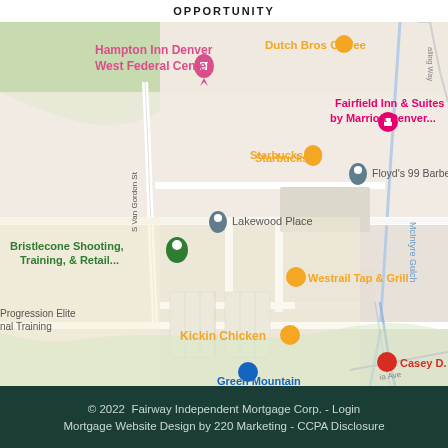OPPORTUNITY
[Figure (map): Google Maps screenshot showing Lakewood, Colorado area near S Van Gordon St and McIntyre Gulch. Visible landmarks include Hampton Inn Denver West Federal Center, Dutch Bros Coffee, Fairfield Inn & Suites by Marriott Denver, Starbucks, Floyd's 99 Barbershop, Lakewood Place, Bristlecone Shooting Training & Retail, Westrail Tap & Grill, Kickin Chicken, Progression Elite Personal Training, Casey D. Lir (partially visible), and Green Mountain Ace Hardware.]
© 2022  Fairway Independent Mortgage Corp. - Login
Mortgage Website Design by 220 Marketing - CCPA Disclosure